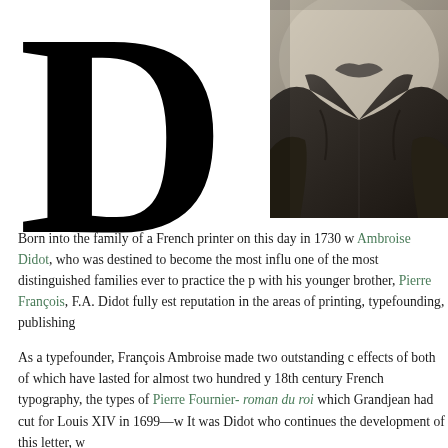D
[Figure (photo): Black and white portrait photograph of a person, cropped, showing upper torso and coat, partially visible in upper right corner of the page.]
Born into the family of a French printer on this day in 1730 w Ambroise Didot, who was destined to become the most influ one of the most distinguished families ever to practice the p with his younger brother, Pierre François, F.A. Didot fully est reputation in the areas of printing, typefounding, publishing
As a typefounder, François Ambroise made two outstanding c effects of both of which have lasted for almost two hundred y 18th century French typography, the types of Pierre Fournier- roman du roi which Grandjean had cut for Louis XIV in 1699—w It was Didot who continues the development of this letter, w